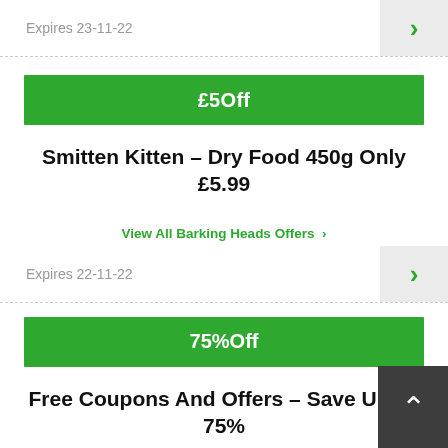Expires 23-11-22
£5Off
Smitten Kitten – Dry Food 450g Only £5.99
View All Barking Heads Offers >
Expires 22-11-22
75%Off
Free Coupons And Offers – Save Up To 75%